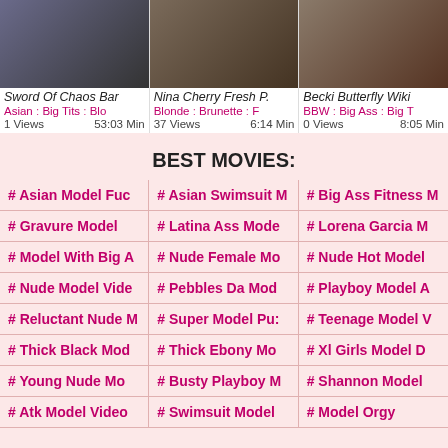[Figure (screenshot): Three video thumbnails in a row showing adult content]
Sword Of Chaos Bar | Nina Cherry Fresh P. | Becki Butterfly Wiki
Asian : Big Tits : Blo | Blonde : Brunette : F | BBW : Big Ass : Big T
1 Views  53:03 Min | 37 Views  6:14 Min | 0 Views  8:05 Min
BEST MOVIES:
# Asian Model Fuc
# Asian Swimsuit M
# Big Ass Fitness M
# Gravure Model
# Latina Ass Mode
# Lorena Garcia M
# Model With Big A
# Nude Female Mo
# Nude Hot Model
# Nude Model Vide
# Pebbles Da Mod
# Playboy Model A
# Reluctant Nude M
# Super Model Pu:
# Teenage Model V
# Thick Black Mod
# Thick Ebony Mo
# Xl Girls Model D
# Young Nude Mo
# Busty Playboy M
# Shannon Model
# Atk Model Video
# Swimsuit Model
# Model Orgy